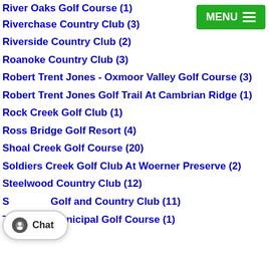River Oaks Golf Course (1)
Riverchase Country Club (3)
Riverside Country Club (2)
Roanoke Country Club (3)
Robert Trent Jones - Oxmoor Valley Golf Course (3)
Robert Trent Jones Golf Trail At Cambrian Ridge (1)
Rock Creek Golf Club (1)
Ross Bridge Golf Resort (4)
Shoal Creek Golf Course (20)
Soldiers Creek Golf Club At Woerner Preserve (2)
Steelwood Country Club (12)
Stillwater Golf and Country Club (11)
Talladega Municipal Golf Course (1)